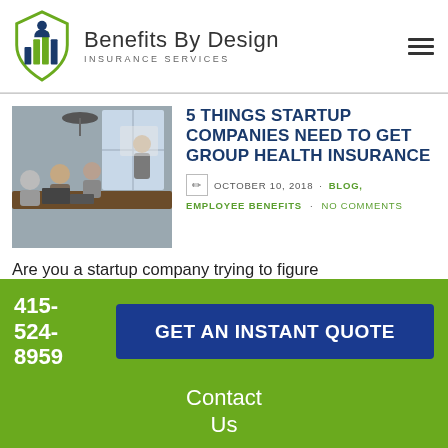[Figure (logo): Benefits By Design Insurance Services logo — green shield with stylized people/bar chart icons inside, company name to the right]
[Figure (photo): Office meeting scene — people sitting around a table with laptops and papers, one person standing at a whiteboard presenting]
5 THINGS STARTUP COMPANIES NEED TO GET GROUP HEALTH INSURANCE
OCTOBER 10, 2018 · BLOG, EMPLOYEE BENEFITS · NO COMMENTS
Are you a startup company trying to figure
415-524-8959
GET AN INSTANT QUOTE
Contact Us